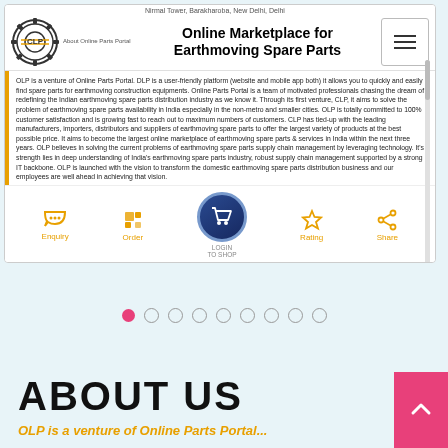[Figure (screenshot): Mobile app screenshot showing OLP Online Parts Portal - Online Marketplace for Earthmoving Spare Parts, with header, logo, text content, and bottom navigation bar]
OLP is a venture of Online Parts Portal. DLP is a user-friendly platform (website and mobile app both) it allows you to quickly and easily find spare parts for earthmoving construction equipments. Online Parts Portal is a team of motivated professionals chasing the dream of redefining the Indian earthmoving spare parts distribution industry as we know it. Through its first venture, CLP, it aims to solve the problem of earthmoving spare parts availability in India especially in the non-metro and smaller cities. OLP is totally committed to 100% customer satisfaction and is growing fast to reach out to maximum numbers of customers. CLP has tied-up with the leading manufacturers, importers, distributors and suppliers of earthmoving spare parts to offer the largest variety of products at the best possible price. It aims to become the largest online marketplace of earthmoving spare parts & services in India within the next three years. OLP believes in solving the current problems of earthmoving spare parts supply chain management by leveraging technology. It's strength lies in deep understanding of India's earthmoving spare parts industry, robust supply chain management supported by a strong IT backbone. OLP is launched with the vision to transform the domestic earthmoving spare parts distribution business and our employees are well ahead in achieving that vision.
ABOUT US
OLP is a venture of Online Parts Portal...